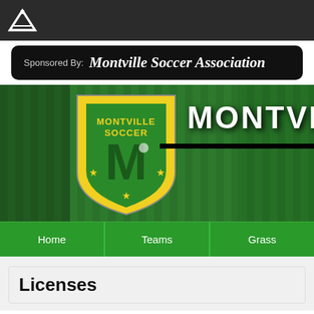[Figure (logo): Dark top navigation bar with a white star/mountain logo icon on the left]
Sponsored By:  Montville Soccer Association
[Figure (logo): Montville Soccer Association shield logo with green M and soccer player, yellow and green shield, stars, on a grass background. Hero banner with MONTVI text on right.]
Home   Teams   Grass
Licenses
Included software components
Third-party software included in this application.
Boostrap - view license
Sleek, intuitive, and powerful front-end framework for faster and easier web developm…